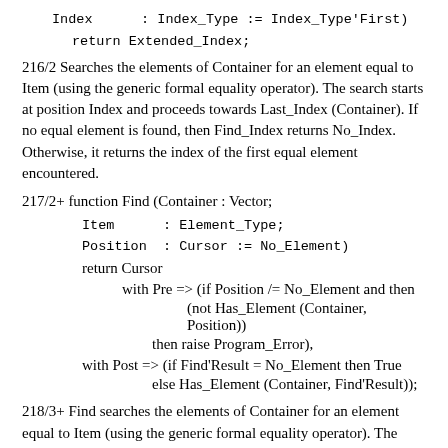Index      : Index_Type := Index_Type'First)

      return Extended_Index;
216/2 Searches the elements of Container for an element equal to Item (using the generic formal equality operator). The search starts at position Index and proceeds towards Last_Index (Container). If no equal element is found, then Find_Index returns No_Index. Otherwise, it returns the index of the first equal element encountered.
217/2+ function Find (Container : Vector;
Item      : Element_Type;
   Position  : Cursor := No_Element)
return Cursor
with Pre => (if Position /= No_Element and then
(not Has_Element (Container, Position))
then raise Program_Error),
with Post => (if Find'Result = No_Element then True
else Has_Element (Container, Find'Result));
218/3+ Find searches the elements of Container for an element equal to Item (using the generic formal equality operator). The search starts at the first element if Position equals No_Element